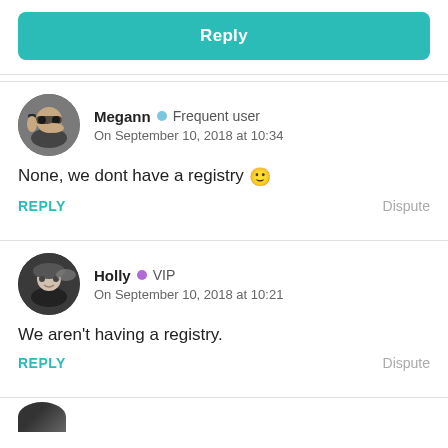Reply
Megann • Frequent user
On September 10, 2018 at 10:34
None, we dont have a registry 🙂
REPLY   Dispute
Holly • VIP
On September 10, 2018 at 10:21
We aren't having a registry.
REPLY   Dispute